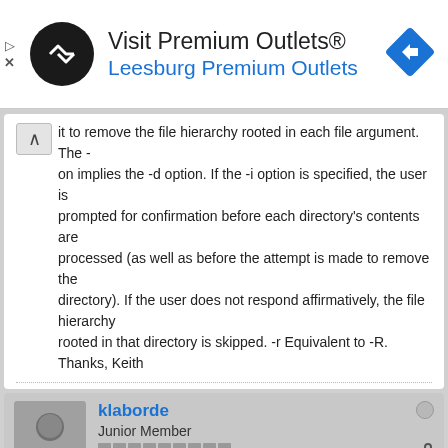[Figure (other): Advertisement banner for Visit Premium Outlets® - Leesburg Premium Outlets, with logo and directional arrow icon]
it to remove the file hierarchy rooted in each file argument. The -on implies the -d option. If the -i option is specified, the user is prompted for confirmation before each directory's contents are processed (as well as before the attempt is made to remove the directory). If the user does not respond affirmatively, the file hierarchy rooted in that directory is skipped. -r Equivalent to -R. Thanks, Keith
klaborde
Junior Member
Join Date: Dec 2008   Posts: 24
01-21-2009, 09:31 PM
#13
Re:TechTip: Clean Up Old IFS Files
Question... CALL PGM(QRYIFSLIB) PARM('/www/iwabase/logs/*' '\L:TBCKLB') I want to pass variables for the two parms above. It looks like the QRYIFSLIB program wants to see the ticks? How do I delare